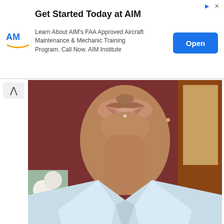[Figure (screenshot): Advertisement banner for AIM Institute showing logo, headline 'Get Started Today at AIM', body text about FAA Approved Aircraft Maintenance & Mechanic Training Program, and a blue 'Open' button.]
[Figure (photo): Close-up photo of a young woman from the mouth/chin area down, wearing a light blue collared shirt, with home decor visible in background.]
Actually, teenagers try to maintain butterfly hair. They look superb with this kind of hair design. Look at her dual-sided butterfly system knots. She can take the participants in any functional programs with this tremendous outlook. You may see school girls continue with this kind of butterfly-looking